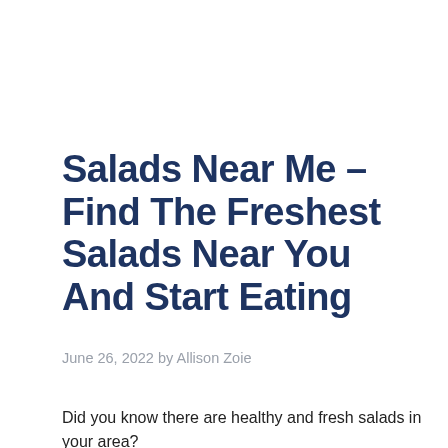Salads Near Me – Find The Freshest Salads Near You And Start Eating
June 26, 2022 by Allison Zoie
Did you know there are healthy and fresh salads in your area?